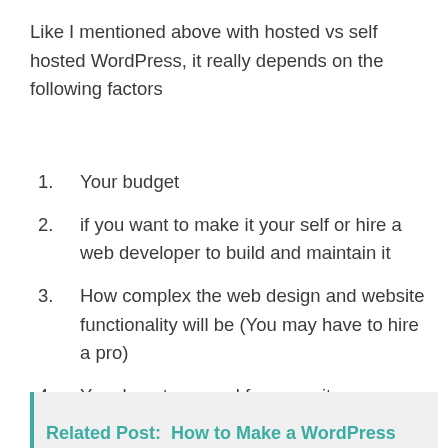Like I mentioned above with hosted vs self hosted WordPress, it really depends on the following factors
1. Your budget
2. if you want to make it your self or hire a web developer to build and maintain it
3. How complex the web design and website functionality will be (You may have to hire a pro)
4. Your long term goal for your site.
Related Post: How to Make a WordPress